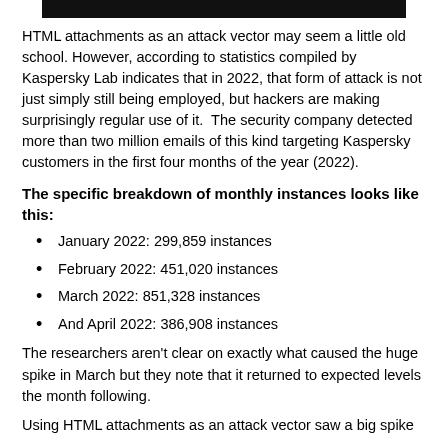[Figure (other): Black horizontal bar at top of page]
HTML attachments as an attack vector may seem a little old school. However, according to statistics compiled by Kaspersky Lab indicates that in 2022, that form of attack is not just simply still being employed, but hackers are making surprisingly regular use of it.  The security company detected more than two million emails of this kind targeting Kaspersky customers in the first four months of the year (2022).
The specific breakdown of monthly instances looks like this:
January 2022: 299,859 instances
February 2022: 451,020 instances
March 2022: 851,328 instances
And April 2022: 386,908 instances
The researchers aren't clear on exactly what caused the huge spike in March but they note that it returned to expected levels the month following.
Using HTML attachments as an attack vector saw a big spike